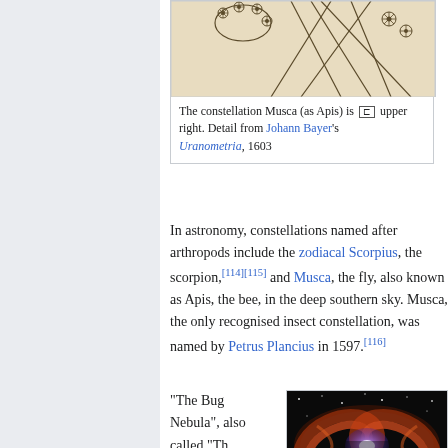[Figure (illustration): Historical star chart illustration showing constellation Musca (as Apis) in upper right, with crossing lines and floral/star decorations. Detail from Johann Bayer's Uranometria, 1603.]
The constellation Musca (as Apis) is upper right. Detail from Johann Bayer's Uranometria, 1603
In astronomy, constellations named after arthropods include the zodiacal Scorpius, the scorpion,[114][115] and Musca, the fly, also known as Apis, the bee, in the deep southern sky. Musca, the only recognised insect constellation, was named by Petrus Plancius in 1597.[116]
"The Bug Nebula", also called "Th...
[Figure (photo): Hubble Space Telescope image of the Bug Nebula (NGC 6302), a bipolar planetary nebula showing orange, red and purple gas clouds resembling a butterfly or bug shape against a black space background.]